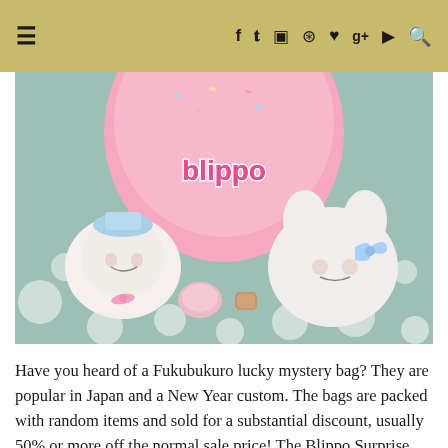≡  f  𝗍  ◻  ⊕  ♥  g+  ▶  🔍
[Figure (photo): Photo showing two kawaii plush toys (a round ghost-like figure with blue hat and a white dog/bunny character with bow) placed in front of a pink Blippo branded bag/bucket, on a teal/grey polka-dot surface. Small accessories are visible between the plushies.]
Have you heard of a Fukubukuro lucky mystery bag? They are popular in Japan and a New Year custom. The bags are packed with random items and sold for a substantial discount, usually 50% or more off the normal sale price! The Blippo Surprise